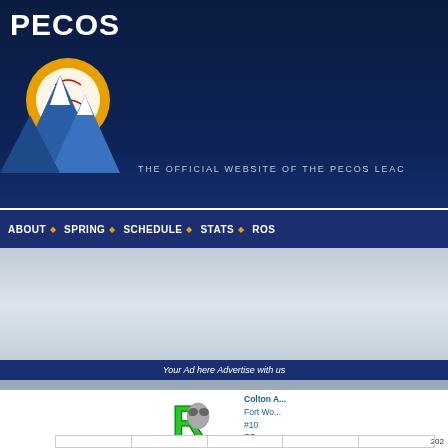[Figure (logo): Pecos League logo with mountain and baseball imagery on dark blue background]
THE OFFICIAL WEBSITE OF THE PECOS LEAG...
ABOUT · SPRING · SCHEDULE · STATS · ROS...
[Figure (other): Advertisement banner area - grey gradient background]
Your Ad here Advertise with us
[Figure (logo): Roswell Invaders R logo in green with alien face]
Colton A...
Fort Wo...
#10
SS
Pointstr...
5/7/1997...
202...